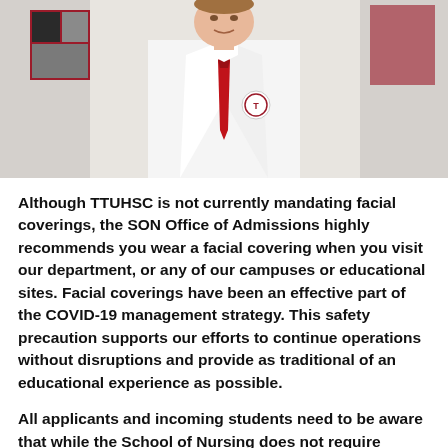[Figure (photo): A man wearing a white lab coat with a red tie and a TTUHSC badge/logo on the coat pocket, photographed from roughly waist up against a light background with some red and dark colored wall art visible behind him.]
Although TTUHSC is not currently mandating facial coverings, the SON Office of Admissions highly recommends you wear a facial covering when you visit our department, or any of our campuses or educational sites. Facial coverings have been an effective part of the COVID-19 management strategy. This safety precaution supports our efforts to continue operations without disruptions and provide as traditional of an educational experience as possible.
All applicants and incoming students need to be aware that while the School of Nursing does not require COVID-